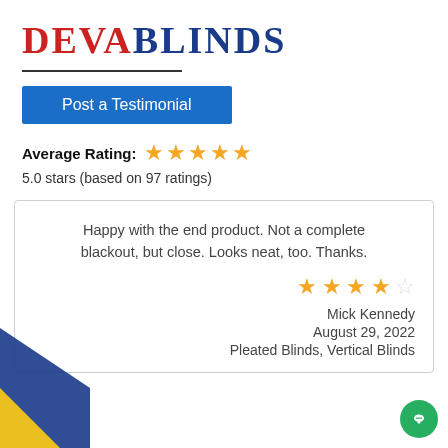[Figure (logo): Deva Blinds logo with DEVA in red and BLINDS in blue serif font]
Post a Testimonial
Average Rating: 5 stars (filled)
5.0 stars (based on 97 ratings)
Happy with the end product. Not a complete blackout, but close. Looks neat, too. Thanks.
4 out of 5 stars
Mick Kennedy
August 29, 2022
Pleated Blinds, Vertical Blinds